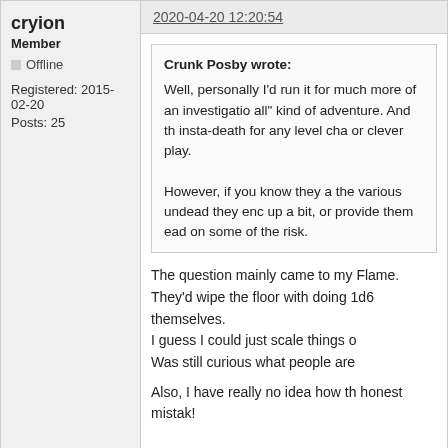cryion
Member
Offline
Registered: 2015-02-20
Posts: 25
2020-04-20 12:20:54
Crunk Posby wrote:
Well, personally I'd run it for much more of an investigation all" kind of adventure. And the insta-death for any level cha or clever play.

However, if you know they a the various undead they enc up a bit, or provide them ea on some of the risk.
The question mainly came to my Flame. They'd wipe the floor with doing 1d6 themselves.
I guess I could just scale things o
Was still curious what people are

Also, I have really no idea how th honest mistak!